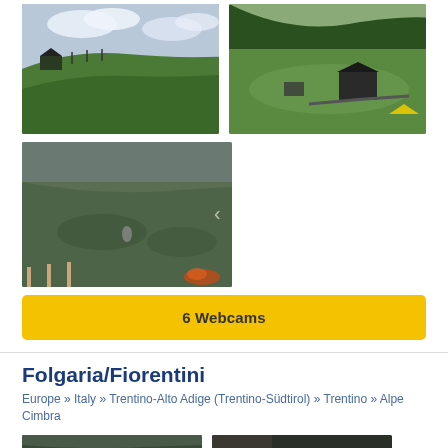[Figure (photo): Webcam photo of a green hillside with a building and ski lift poles visible at the top, cloudy sky]
[Figure (photo): Webcam photo of an alpine valley with green meadows, scattered buildings, and forested mountains in the background]
[Figure (photo): Webcam photo of a ski/grass slope with some equipment and structures visible, taken in low-light conditions]
6 Webcams
Folgaria/Fiorentini
Europe » Italy » Trentino-Alto Adige (Trentino-Südtirol) » Trentino » Alpe Cimbra
[Figure (photo): Partial webcam photo at bottom left, dark/low light scene]
[Figure (photo): Partial webcam photo at bottom right, dark scene]